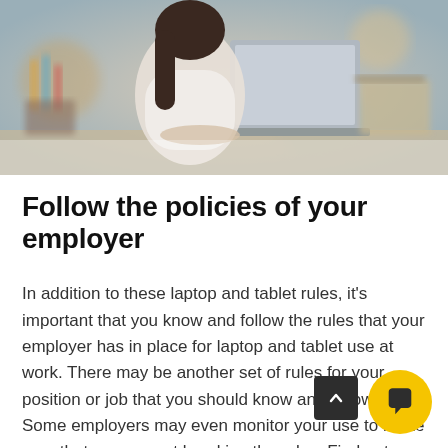[Figure (photo): Woman sitting at a desk working on a laptop in an office/creative workspace environment, blurred background with colorful elements]
Follow the policies of your employer
In addition to these laptop and tablet rules, it's important that you know and follow the rules that your employer has in place for laptop and tablet use at work. There may be another set of rules for your position or job that you should know and follow. Some employers may even monitor your use to make sure that you are not breaking the rules. Find out what these rules are so you don't accidentally break one of them and get in trouble.